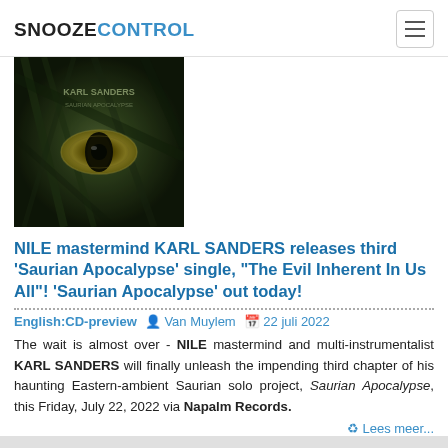SNOOZECONTROL
[Figure (photo): Album cover artwork for Saurian Apocalypse by Karl Sanders, featuring dark greenish-black monster/creature eye imagery]
NILE mastermind KARL SANDERS releases third 'Saurian Apocalypse' single, "The Evil Inherent In Us All"! 'Saurian Apocalypse' out today!
English:CD-preview   Van Muylem   22 juli 2022
The wait is almost over - NILE mastermind and multi-instrumentalist KARL SANDERS will finally unleash the impending third chapter of his haunting Eastern-ambient Saurian solo project, Saurian Apocalypse, this Friday, July 22, 2022 via Napalm Records.
Lees meer...